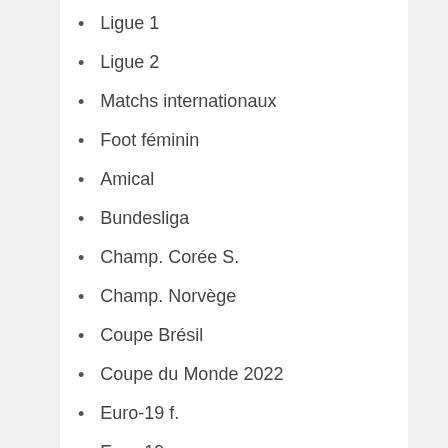Ligue 1
Ligue 2
Matchs internationaux
Foot féminin
Amical
Bundesliga
Champ. Corée S.
Champ. Norvège
Coupe Brésil
Coupe du Monde 2022
Euro-19 f.
Euro-19
Euro féminin
Ligue Conference
Ligue des Champions f.
Ligue des Nations